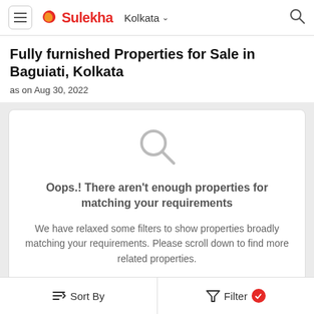Sulekha  Kolkata
Fully furnished Properties for Sale in Baguiati, Kolkata
as on Aug 30, 2022
Oops.! There aren't enough properties for matching your requirements
We have relaxed some filters to show properties broadly matching your requirements. Please scroll down to find more related properties.
Sort By   Filter